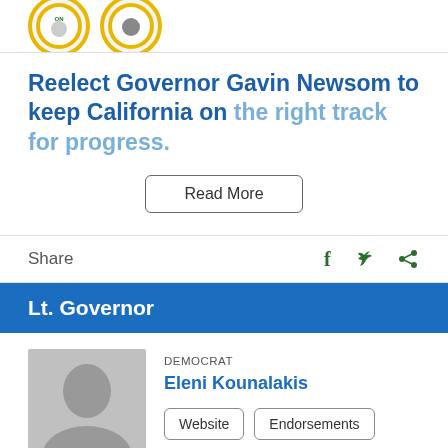[Figure (logo): Two circular logos with yellow borders, partially visible at top of page]
Reelect Governor Gavin Newsom to keep California on the right track for progress.
Read More
Share
[Figure (illustration): Social media icons: Facebook, Twitter, and share icons in dark green]
Lt. Governor
[Figure (photo): Gray placeholder silhouette photo of candidate]
DEMOCRAT
Eleni Kounalakis
Website
Endorsements